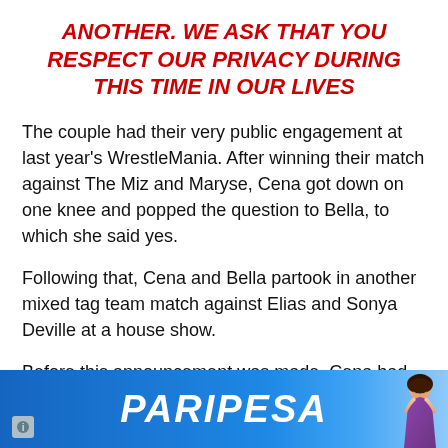ANOTHER. WE ASK THAT YOU RESPECT OUR PRIVACY DURING THIS TIME IN OUR LIVES
The couple had their very public engagement at last year's WrestleMania. After winning their match against The Miz and Maryse, Cena got down on one knee and popped the question to Bella, to which she said yes.
Following that, Cena and Bella partook in another mixed tag team match against Elias and Sonya Deville at a house show.
Before this announcement was made, Cena had been
[Figure (other): PARIPESA advertisement banner with blue gradient background, bold white italic text reading PARIPESA, and a woman figure on the right side]